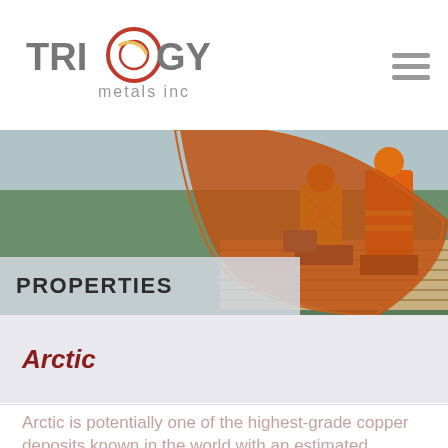[Figure (logo): Trilogy Metals Inc logo with circular graphic element]
[Figure (photo): Banner photo showing two workers in safety vests and hard hats examining drill core samples on racks, with forest in background. Orange arc design overlay. Text PROPERTIES overlaid on left side.]
Arctic
Arctic is potentially one of the highest-grade copper deposits known in the world with an estimated average grade of 5% copper equivalent.